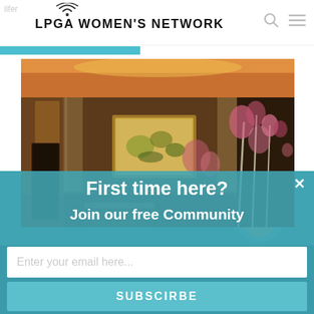[Figure (logo): LPGA Women's Network logo with wifi antenna icon above the text]
[Figure (photo): Interior of an upscale restaurant with warm wood tones, decorative columns, colorful floral arrangements and artwork on the walls]
First time here?
Join our free Community
Enter your email here...
SUBSCIRBE